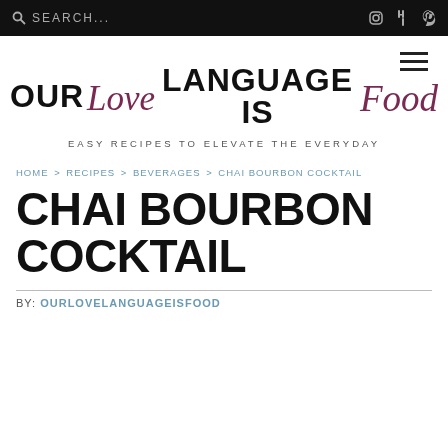SEARCH...
OUR Love LANGUAGE IS Food
EASY RECIPES TO ELEVATE THE EVERYDAY
HOME > RECIPES > BEVERAGES > CHAI BOURBON COCKTAIL
CHAI BOURBON COCKTAIL
BY: OURLOVELANGUAGEISFOOD